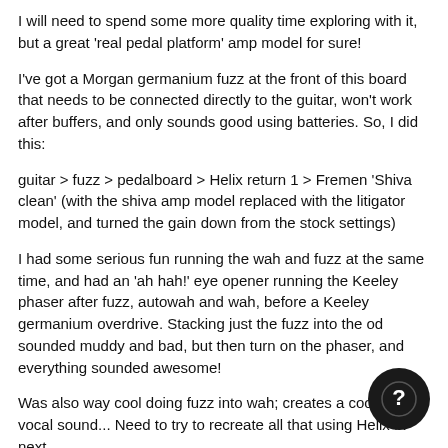I will need to spend some more quality time exploring with it, but a great 'real pedal platform' amp model for sure!
I've got a Morgan germanium fuzz at the front of this board that needs to be connected directly to the guitar, won't work after buffers, and only sounds good using batteries. So, I did this:
guitar > fuzz > pedalboard > Helix return 1 > Fremen 'Shiva clean' (with the shiva amp model replaced with the litigator model, and turned the gain down from the stock settings)
I had some serious fun running the wah and fuzz at the same time, and had an 'ah hah!' eye opener running the Keeley phaser after fuzz, autowah and wah, before a Keeley germanium overdrive. Stacking just the fuzz into the od sounded muddy and bad, but then turn on the phaser, and everything sounded awesome!
Was also way cool doing fuzz into wah; creates a cool almost vocal sound... Need to try to recreate all that using Helix fx next.